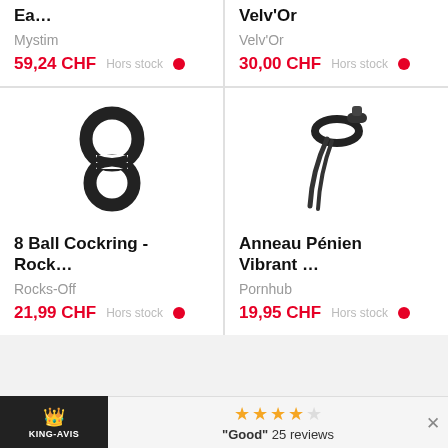Ea... - Mystim - 59,24 CHF - Hors stock
Velv'Or - Velv'Or - 30,00 CHF - Hors stock
[Figure (photo): 8 Ball Cockring product image - black figure-8 shaped ring]
8 Ball Cockring - Rock... - Rocks-Off - 21,99 CHF - Hors stock
[Figure (photo): Anneau Pénien Vibrant product image - black penile ring with straps]
Anneau Pénien Vibrant ... - Pornhub - 19,95 CHF - Hors stock
KING-AVIS | ★★★★☆ "Good" 25 reviews